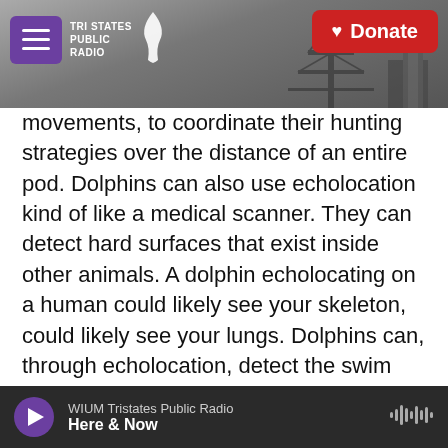[Figure (screenshot): Tri States Public Radio website header with hamburger menu button, logo, and red Donate button over a dark grey sky/tower background image]
movements, to coordinate their hunting strategies over the distance of an entire pod. Dolphins can also use echolocation kind of like a medical scanner. They can detect hard surfaces that exist inside other animals. A dolphin echolocating on a human could likely see your skeleton, could likely see your lungs. Dolphins can, through echolocation, detect the swim bladders inside the fish that they hunt. They can probably tell the difference between different kinds of prey by the shape of their swim bladders. So they have this incredible see-through ability. But except it's not really to do with vision, right? It's to do with sound.
WIUM Tristates Public Radio
Here & Now